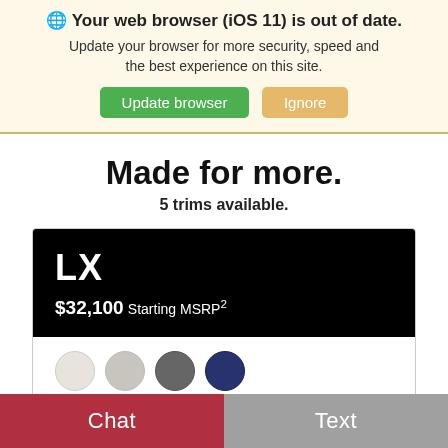🌐 Your web browser (iOS 11) is out of date. Update your browser for more security, speed and the best experience on this site.
Update browser | Ignore
Made for more.
5 trims available.
LX
$32,100 Starting MSRP²
[Figure (illustration): Four color swatches: light beige, silver/light gray, dark gray, dark navy blue]
Features:
3.5L V6 w/ 290 HP and 3,500 lb
Chat | Text